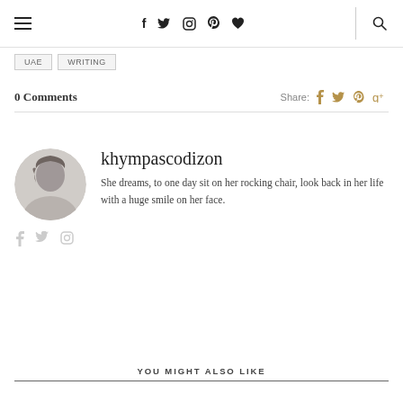Navigation bar with hamburger menu, social icons (f, twitter, instagram, pinterest, heart), search icon
UAE
WRITING
0 Comments
Share: [facebook] [twitter] [pinterest] [g+]
khympascodizon
She dreams, to one day sit on her rocking chair, look back in her life with a huge smile on her face.
YOU MIGHT ALSO LIKE